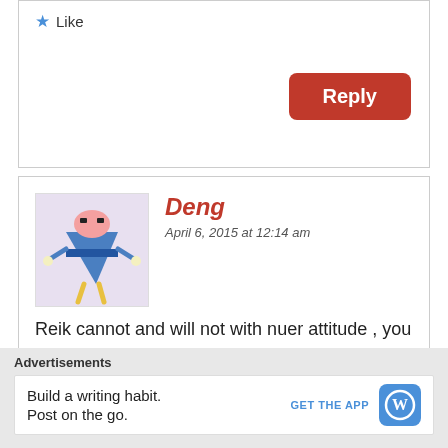Like
Reply
Deng
April 6, 2015 at 12:14 am
Reik cannot and will not with nuer attitude , you have seen now , where is 70% nuer army in south, Nuer mind miscalculation
Like
Reply
Advertisements
Build a writing habit. Post on the go.
GET THE APP